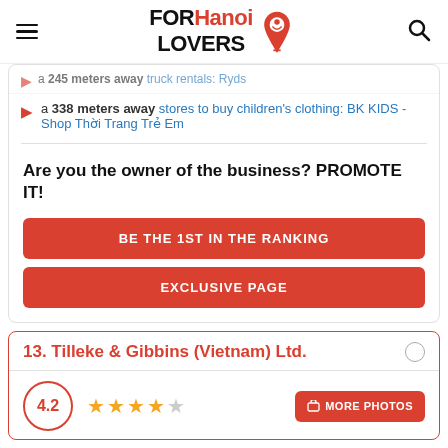FOR Hanoi LOVERS
a 245 meters away truck rentals: Ryds
a 338 meters away stores to buy children's clothing: BK KIDS - Shop Thời Trang Trẻ Em
Are you the owner of the business? PROMOTE IT!
BE THE 1ST IN THE RANKING
EXCLUSIVE PAGE
13. Tilleke & Gibbins (Vietnam) Ltd.
4.2 rating, 4 stars out of 5, MORE PHOTOS